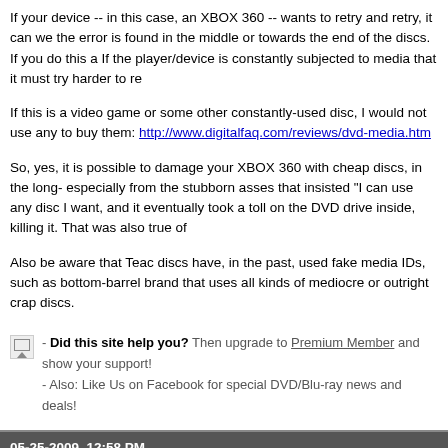If your device -- in this case, an XBOX 360 -- wants to retry and retry, it can we... the error is found in the middle or towards the end of the discs. If you do this a... If the player/device is constantly subjected to media that it must try harder to re...
If this is a video game or some other constantly-used disc, I would not use any... to buy them: http://www.digitalfaq.com/reviews/dvd-media.htm
So, yes, it is possible to damage your XBOX 360 with cheap discs, in the long-... especially from the stubborn asses that insisted "I can use any disc I want, and... it eventually took a toll on the DVD drive inside, killing it. That was also true of...
Also be aware that Teac discs have, in the past, used fake media IDs, such as... bottom-barrel brand that uses all kinds of mediocre or outright crap discs.
- Did this site help you? Then upgrade to Premium Member and show your support! - Also: Like Us on Facebook for special DVD/Blu-ray news and deals!
05-25-2009, 12:58 PM
piojo
Free Member